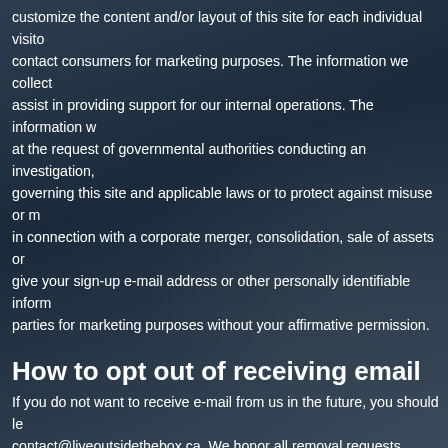customize the content and/or layout of this site for each individual visitor, contact consumers for marketing purposes. The information we collect will assist in providing support for our internal operations. The information will at the request of governmental authorities conducting an investigation, governing this site and applicable laws or to protect against misuse or in connection with a corporate merger, consolidation, sale of assets or give your sign-up e-mail address or other personally identifiable information to third parties for marketing purposes without your affirmative permission.
How to opt out of receiving email
If you do not want to receive e-mail from us in the future, you should let contact@liveoutsidethebox.ca. We honor all removal requests.
What are cookies, and how do we use them?
A cookie is a small piece of information that we place in your computer preferences. We use cookies to identify you when you visit us and to keep a personalized version of this site. Cookies do not contain any personal relate your use of this site to personal information you have provided, but your browser settings to have your computer warn you each time a cookie cookies. If you turn off cookies, you will not have access to some of the smoother and some of our services may not function properly.